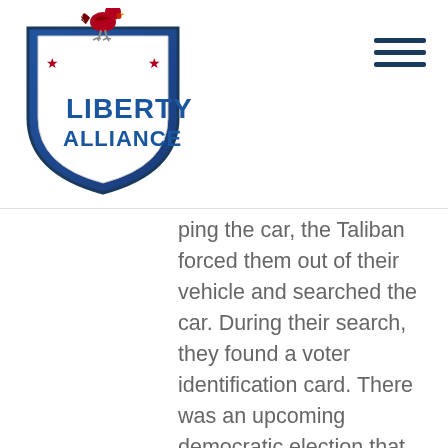[Figure (logo): Liberty Alliance shield logo with rooster on top, blue shield with stars and 'LIBERTY ALLIANCE' text in blue and white]
ping the car, the Taliban forced them out of their vehicle and searched the car. During their search, they found a voter identification card. There was an upcoming democratic election that the Taliban had been working to delegitimize, so finding this card upset them. In response, the Taliban held the informant and his colleague at gunpoint, ripped up the voter identification card, and forced both of them to ingest pieces of it.